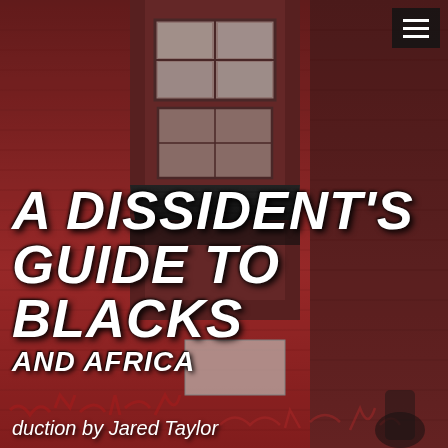[Figure (photo): Book cover photograph showing a red brick urban building with graffiti-covered walls in red and black tones. A Victorian-era building with bay window and dark shingled roof bay protrudes from the facade. Graffiti text is visible on the lower portion of the wall.]
A DISSIDENT'S GUIDE TO BLACKS AND AFRICA
Introduction by Jared Taylor